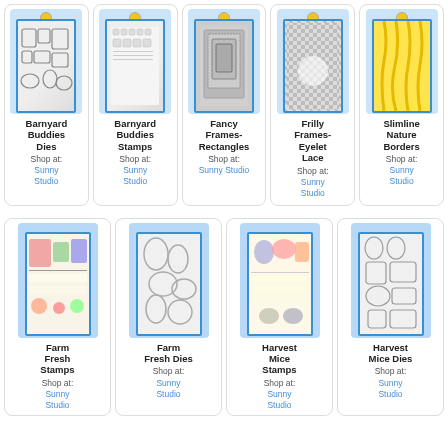[Figure (photo): Barnyard Buddies Dies product in blue packaging]
Barnyard Buddies Dies
Shop at:
Sunny Studio
[Figure (photo): Barnyard Buddies Stamps product in blue packaging]
Barnyard Buddies Stamps
Shop at:
Sunny Studio
[Figure (photo): Fancy Frames-Rectangles product in blue packaging]
Fancy Frames-Rectangles
Shop at:
Sunny Studio
[Figure (photo): Frilly Frames-Eyelet Lace product in blue packaging]
Frilly Frames-Eyelet Lace
Shop at:
Sunny Studio
[Figure (photo): Slimline Nature Borders product in blue packaging with yellow design]
Slimline Nature Borders
Shop at:
Sunny Studio
[Figure (photo): Farm Fresh Stamps product in blue packaging]
Farm Fresh Stamps
Shop at:
Sunny Studio
[Figure (photo): Farm Fresh Dies product in blue packaging]
Farm Fresh Dies
Shop at:
Sunny Studio
[Figure (photo): Harvest Mice Stamps product in blue packaging]
Harvest Mice Stamps
Shop at:
Sunny Studio
[Figure (photo): Harvest Mice Dies product in blue packaging]
Harvest Mice Dies
Shop at:
Sunny Studio